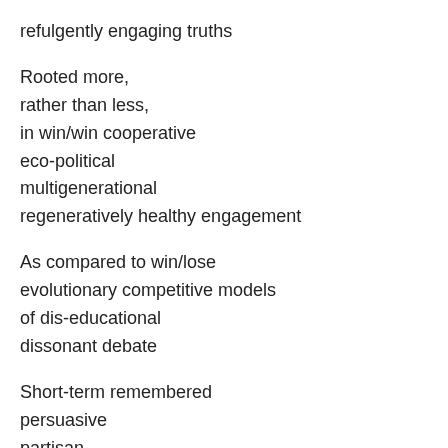refulgently engaging truths
Rooted more,
rather than less,
in win/win cooperative
eco-political
multigenerational
regeneratively healthy engagement
As compared to win/lose
evolutionary competitive models
of dis-educational
dissonant debate
Short-term remembered
persuasive
partisan